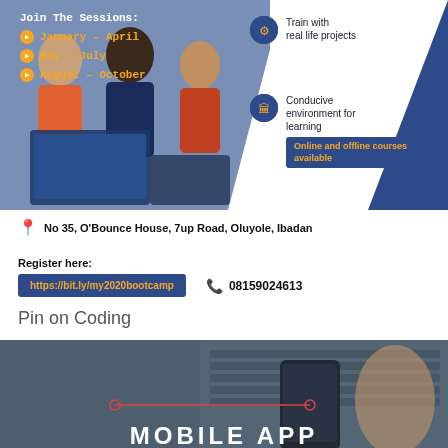[Figure (infographic): Training bootcamp advertisement banner showing students working on laptops with session dates (January-April, May-July, August-October), features: Train with real life projects, Conducive environment for learning, Online and offline courses available]
No 35, O'Bounce House, 7up Road, Oluyole, Ibadan
Register here: https://bit.ly/my2020bootcamp  08159024613
Pin on Coding
[Figure (photo): Dark overhead photo of a person using a smartphone near a laptop keyboard with text MOBILE APP at the bottom]